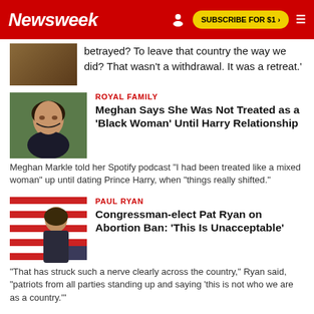Newsweek | SUBSCRIBE FOR $1 >
betrayed? To leave that country the way we did? That wasn't a withdrawal. It was a retreat.'
ROYAL FAMILY
Meghan Says She Was Not Treated as a 'Black Woman' Until Harry Relationship
Meghan Markle told her Spotify podcast "I had been treated like a mixed woman" up until dating Prince Harry, when "things really shifted."
PAUL RYAN
Congressman-elect Pat Ryan on Abortion Ban: 'This Is Unacceptable'
"That has struck such a nerve clearly across the country," Ryan said, "patriots from all parties standing up and saying 'this is not who we are as a country.'"
JOE BIDEN
Joe Biden's Rallying Approval Rating Has Been Undone After Father Move